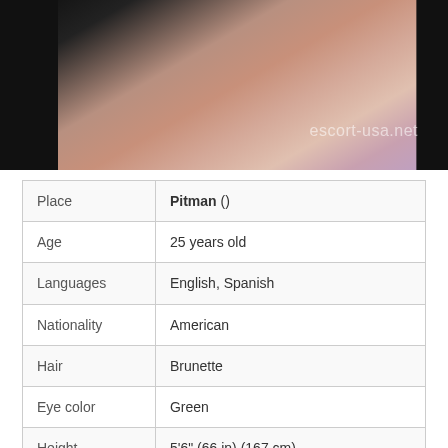[Figure (photo): Partial body photo of a person wearing pink/mauve clothing against a dark background, with watermark text 'escort-usa.net']
| Place | Pitman () |
| Age | 25 years old |
| Languages | English, Spanish |
| Nationality | American |
| Hair | Brunette |
| Eye color | Green |
| Height | 5'6" (66 in) (167 cm) |